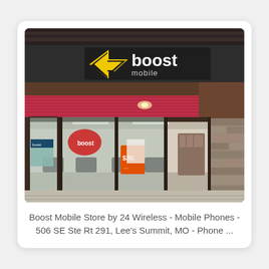[Figure (photo): Exterior photo of a Boost Mobile store by 24 Wireless. The storefront features a large backlit sign with the Boost Mobile logo (yellow arrow icon and white 'boost mobile' text on dark background), a red/pink canopy overhang, large glass windows showing the interior with chairs and display stands, a $30 promotional sign in the window, stone veneer columns, and a concrete sidewalk.]
Boost Mobile Store by 24 Wireless - Mobile Phones - 506 SE Ste Rt 291, Lee's Summit, MO - Phone ...